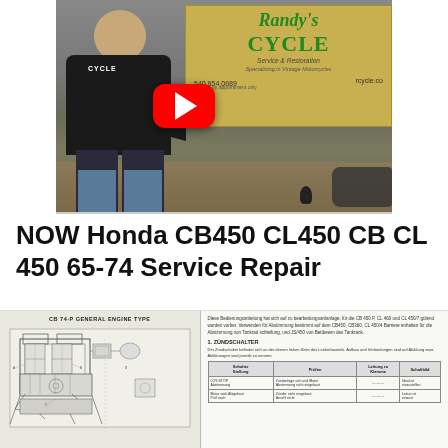[Figure (screenshot): YouTube video thumbnail showing a man in a black vest standing in front of a Randy's Cycle service shop sign, with a YouTube play button overlay in the center]
NOW Honda CB450 CL450 CB CL 450 65-74 Service Repair
[Figure (engineering-diagram): Page from a Honda CB450P General Engine Type service manual showing a detailed engine schematic diagram on the left and German-language text with a table on the right, section titled '1. ZÜNDSCHALTER']